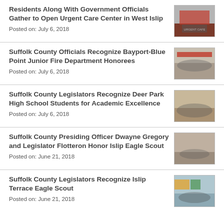Residents Along With Government Officials Gather to Open Urgent Care Center in West Islip
Posted on: July 6, 2018
[Figure (photo): Group of people gathered outside an urgent care center / cafe for a ribbon cutting ceremony]
Suffolk County Officials Recognize Bayport-Blue Point Junior Fire Department Honorees
Posted on: July 6, 2018
[Figure (photo): Group photo of officials and honorees indoors with a red banner]
Suffolk County Legislators Recognize Deer Park High School Students for Academic Excellence
Posted on: July 6, 2018
[Figure (photo): Group photo of students and legislators indoors]
Suffolk County Presiding Officer Dwayne Gregory and Legislator Flotteron Honor Islip Eagle Scout
Posted on: June 21, 2018
[Figure (photo): Officials honoring an Eagle Scout indoors]
Suffolk County Legislators Recognize Islip Terrace Eagle Scout
Posted on: June 21, 2018
[Figure (photo): Group photo with Eagle Scout and legislators]